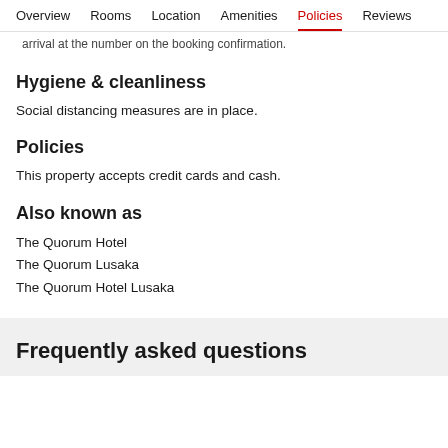Overview  Rooms  Location  Amenities  Policies  Reviews
arrival at the number on the booking confirmation.
Hygiene & cleanliness
Social distancing measures are in place.
Policies
This property accepts credit cards and cash.
Also known as
The Quorum Hotel
The Quorum Lusaka
The Quorum Hotel Lusaka
Frequently asked questions